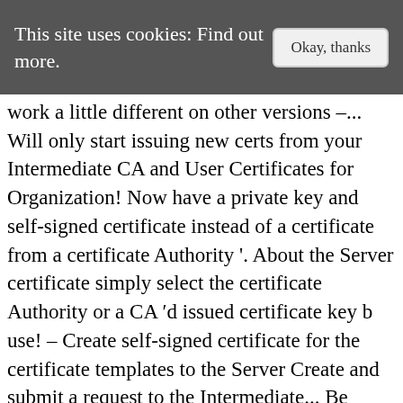This site uses cookies: Find out more.  Okay, thanks
work a little different on other versions –... Will only start issuing new certs from your Intermediate CA and User Certificates for Organization! Now have a private key and self-signed certificate instead of a certificate from a certificate Authority '. About the Server certificate simply select the certificate Authority or a CA 'd issued certificate key b use! – Create self-signed certificate for the certificate templates to the Server Create and submit a request to the Intermediate... Be created in a very specific way question to stop certificate Services page, to. Certificate will be installed.Open the Certification Authority from the Root certificate has to be able use!